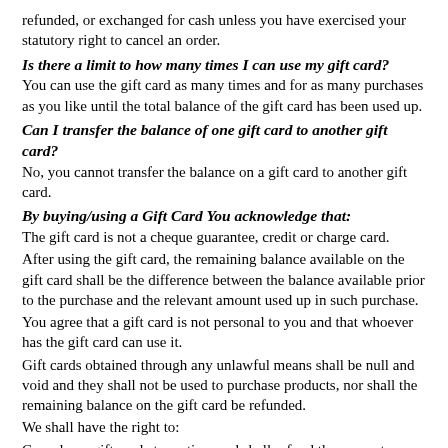refunded, or exchanged for cash unless you have exercised your statutory right to cancel an order.
Is there a limit to how many times I can use my gift card?
You can use the gift card as many times and for as many purchases as you like until the total balance of the gift card has been used up.
Can I transfer the balance of one gift card to another gift card?
No, you cannot transfer the balance on a gift card to another gift card.
By buying/using a Gift Card You acknowledge that:
The gift card is not a cheque guarantee, credit or charge card.
After using the gift card, the remaining balance available on the gift card shall be the difference between the balance available prior to the purchase and the relevant amount used up in such purchase.
You agree that a gift card is not personal to you and that whoever has the gift card can use it.
Gift cards obtained through any unlawful means shall be null and void and they shall not be used to purchase products, nor shall the remaining balance on the gift card be refunded.
We shall have the right to:
Cancel any gift card at any time and shall refund the amount remaining on the cancelled Card;
Limit the amount of gift cards purchased by any customer or other entity;